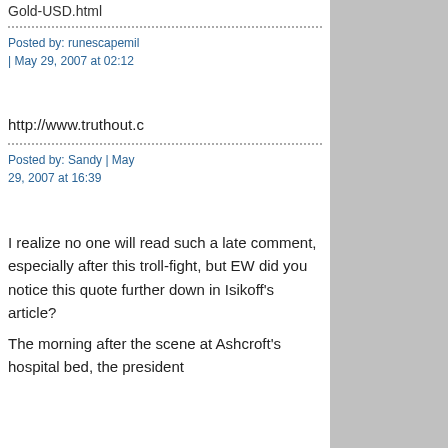Gold-USD.html
Posted by: runescapemil | May 29, 2007 at 02:12
http://www.truthout.c
Posted by: Sandy | May 29, 2007 at 16:39
I realize no one will read such a late comment, especially after this troll-fight, but EW did you notice this quote further down in Isikoff's article?
The morning after the scene at Ashcroft's hospital bed, the president